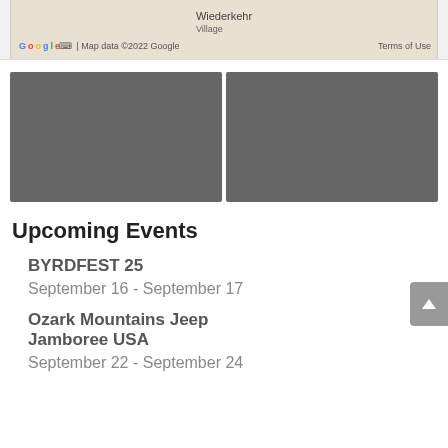[Figure (map): Partial Google Maps view showing Wiederkehr Village area with map data copyright 2022 Google and Terms of Use label]
[Figure (photo): Two side-by-side gray placeholder image boxes]
Upcoming Events
BYRDFEST 25
September 16 - September 17
Ozark Mountains Jeep Jamboree USA
September 22 - September 24